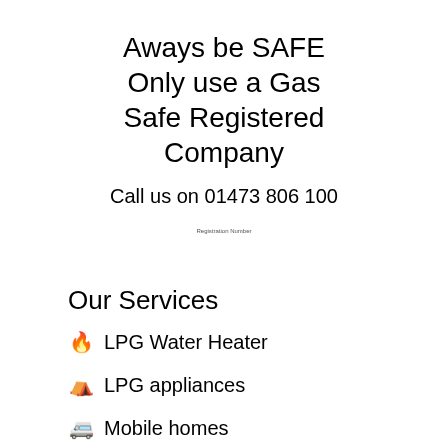Aways be SAFE Only use a Gas Safe Registered Company
Call us on 01473 806 100
Registration Number
Our Services
LPG Water Heater
LPG appliances
Mobile homes